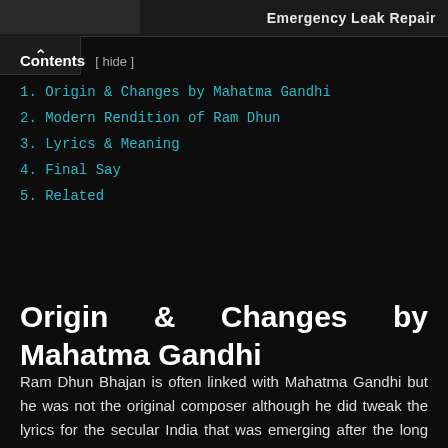[Figure (other): Ad banner showing partial image and text 'Emergency Leak Repair']
Contents [ hide ]
1. Origin & Changes by Mahatma Gandhi
2. Modern Rendition of Ram Dhun
3. Lyrics & Meaning
4. Final Say
5. Related
Origin & Changes by Mahatma Gandhi
Ram Dhun Bhajan is often linked with Mahatma Gandhi but he was not the original composer although he did tweak the lyrics for the secular India that was emerging after the long British rules. There are different write-ups on the origin of the bhajan.